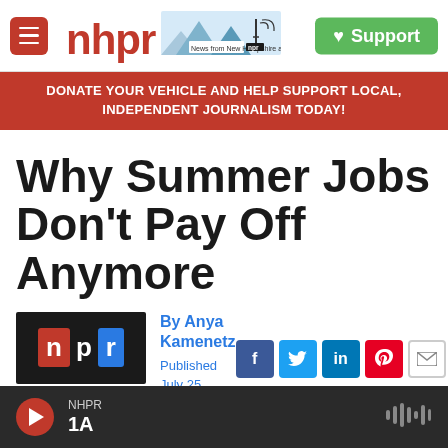nhpr | News from New Hampshire and NPR | Support
DONATE YOUR VEHICLE AND HELP SUPPORT LOCAL, INDEPENDENT JOURNALISM TODAY!
Why Summer Jobs Don't Pay Off Anymore
By Anya Kamenetz
Published July 25, 2016 at 7:00 AM EDT
NHPR 1A